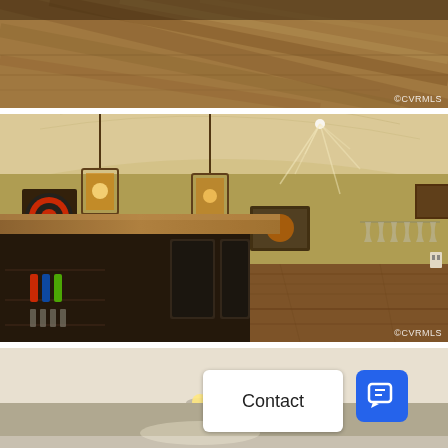[Figure (photo): Partial view of a rustic interior room with hardwood flooring and dark wood shelving, watermark CVRMLS in bottom right]
[Figure (photo): Interior photo of a basement bar/entertainment room with pendant lights, dart board, wine rack, bar counter with dark cabinetry, wine bottle storage, and rustic wood floors. Watermark CVRMLS in bottom right.]
[Figure (photo): Interior photo of a room with white ceiling and recessed lighting, partially visible. Overlaid with a white Contact button and a blue chat icon button.]